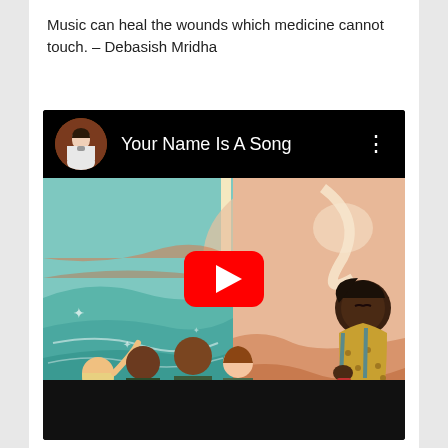Music can heal the wounds which medicine cannot touch. – Debasish Mridha
[Figure (screenshot): YouTube video thumbnail showing 'Your Name Is A Song' with an illustrated scene of diverse children and a girl singing, with a red YouTube play button in the center. A circular channel avatar of a child singing is shown in the top bar.]